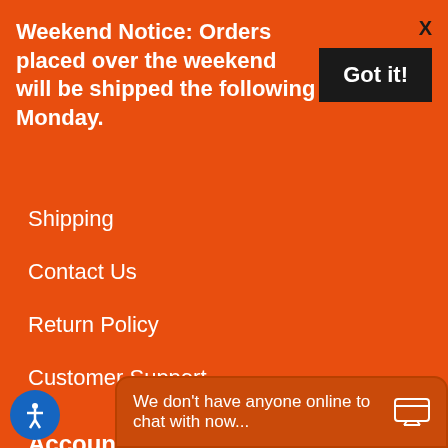Weekend Notice: Orders placed over the weekend will be shipped the following Monday.
Got it!
Shipping
Contact Us
Return Policy
Customer Support
Account
Customer Login
Create Account
We don't have anyone online to chat with now...